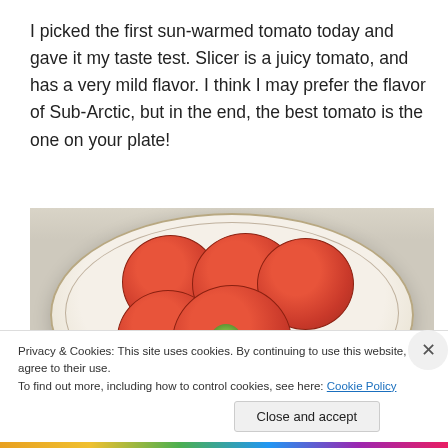I picked the first sun-warmed tomato today and gave it my taste test. Slicer is a juicy tomato, and has a very mild flavor. I think I may prefer the flavor of Sub-Arctic, but in the end, the best tomato is the one on your plate!
[Figure (photo): Sliced tomatoes arranged on a decorative cream-colored plate with brown floral border pattern, viewed from above]
Privacy & Cookies: This site uses cookies. By continuing to use this website, you agree to their use.
To find out more, including how to control cookies, see here: Cookie Policy
Close and accept